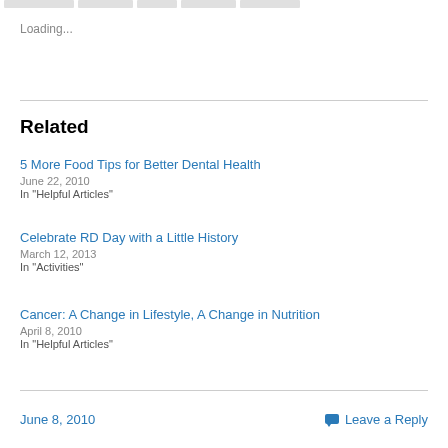Loading...
Related
5 More Food Tips for Better Dental Health
June 22, 2010
In "Helpful Articles"
Celebrate RD Day with a Little History
March 12, 2013
In "Activities"
Cancer: A Change in Lifestyle, A Change in Nutrition
April 8, 2010
In "Helpful Articles"
June 8, 2010   Leave a Reply